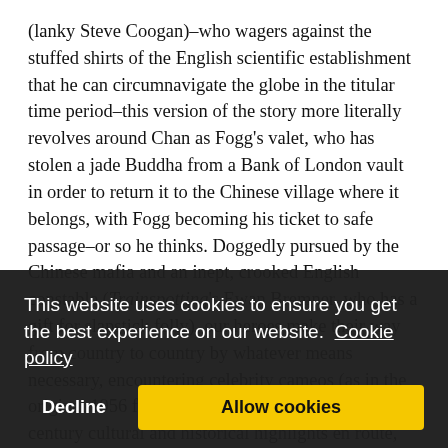(lanky Steve Coogan)–who wagers against the stuffed shirts of the English scientific establishment that he can circumnavigate the globe in the titular time period–this version of the story more literally revolves around Chan as Fogg's valet, who has stolen a jade Buddha from a Bank of London vault in order to return it to the Chinese village where it belongs, with Fogg becoming his ticket to safe passage–or so he thinks. Doggedly pursued by the Chinese mafia and an inept, crooked English constable (Trainspotting's Ewan Bremner, who has a gift for slapstick folly), our heroes make their way from country to country by whatever means necessary, encountering celebrity cameos (as in the original 1956 film [VL Online–6/04]), late 19th century cultural and historical highlights en route, and then for witty engaging storytelling that is always fun, this is a strong optional purchase. [Note: Available in widescreen and screen versions include the theatrical version and the "alternate beginning" version (with an exclusive alternate opening sequence), audio commentary
This website uses cookies to ensure you get the best experience on our website.  Cookie policy
Decline    Allow cookies